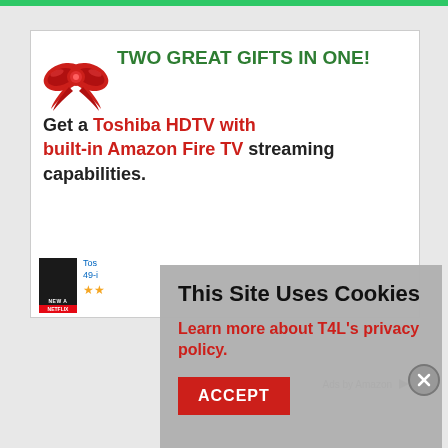[Figure (screenshot): A green progress/navigation bar at the top of the page]
TWO GREAT GIFTS IN ONE!
Get a Toshiba HDTV with built-in Amazon Fire TV streaming capabilities.
[Figure (screenshot): Product listing showing a Netflix movie box set image with a Toshiba product link and star ratings, partially visible]
This Site Uses Cookies
Learn more about T4L's privacy policy.
ACCEPT